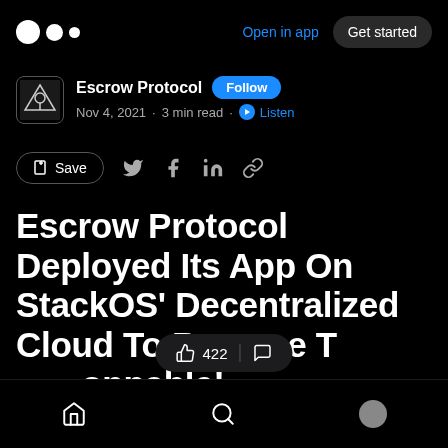Medium app screenshot header with logo, Open in app link, Get started button
Escrow Protocol · Follow · Nov 4, 2021 · 3 min read · Listen
Save · Twitter · Facebook · LinkedIn · Link
Escrow Protocol Deployed Its App On StackOS' Decentralized Cloud To Become Truly Unstoppable!
👏 422 | 💬
Bottom navigation bar with Home, Search, and Profile icons